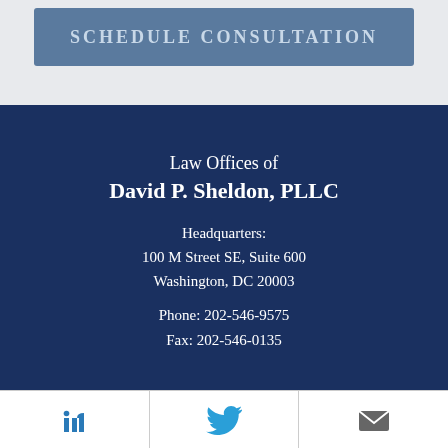[Figure (other): Blue button with text SCHEDULE CONSULTATION in faded uppercase lettering on a steel blue background, within a light gray section]
Law Offices of
David P. Sheldon, PLLC

Headquarters:
100 M Street SE, Suite 600
Washington, DC 20003

Phone: 202-546-9575
Fax: 202-546-0135
[Figure (other): Social media icon bar with LinkedIn, Twitter, and email/mail icons on white background]